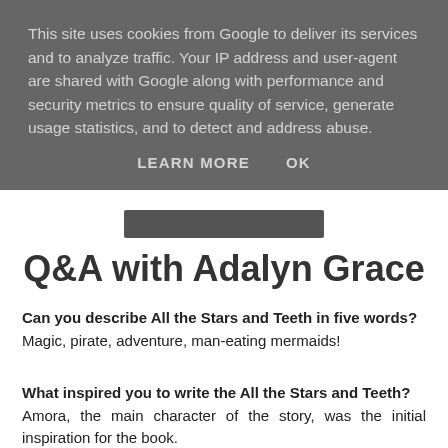This site uses cookies from Google to deliver its services and to analyze traffic. Your IP address and user-agent are shared with Google along with performance and security metrics to ensure quality of service, generate usage statistics, and to detect and address abuse.
LEARN MORE   OK
Q&A with Adalyn Grace
Can you describe All the Stars and Teeth in five words?
Magic, pirate, adventure, man-eating mermaids!
What inspired you to write the All the Stars and Teeth?
Amora, the main character of the story, was the initial inspiration for the book.
At the time, I knew nothing about the world or the magic; all I knew is that there was a girl on a ship who, more than